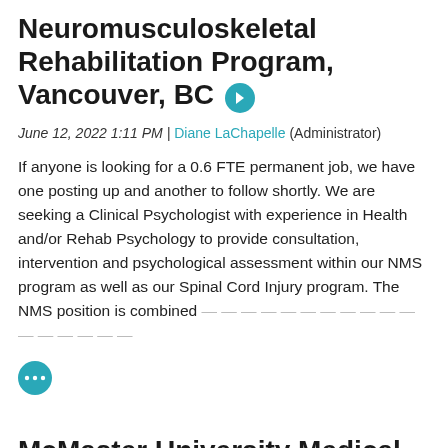Neuromusculoskeletal Rehabilitation Program, Vancouver, BC
June 12, 2022 1:11 PM | Diane LaChapelle (Administrator)
If anyone is looking for a 0.6 FTE permanent job, we have one posting up and another to follow shortly. We are seeking a Clinical Psychologist with experience in Health and/or Rehab Psychology to provide consultation, intervention and psychological assessment within our NMS program as well as our Spinal Cord Injury program. The NMS position is combined between and ...
McMaster University Medical Centre, Hamilton, ON